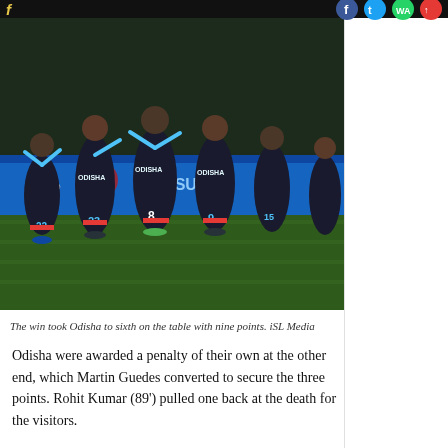[Figure (photo): Football players wearing black and teal Odisha FC jerseys celebrating on the pitch after a goal. Players with numbers 22, 23, 8, 9, and 15 are visible.]
The win took Odisha to sixth on the table with nine points. iSL Media
Odisha were awarded a penalty of their own at the other end, which Martin Guedes converted to secure the three points. Rohit Kumar (89') pulled one back at the death for the visitors.
Odisha had Vinit Rai sent off for a second bookable offence in the 6th minute but they ended liner by for the rest of the match.